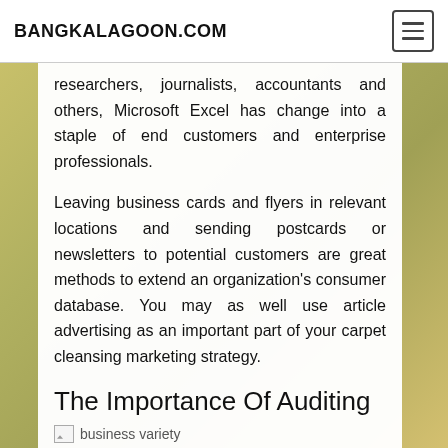BANGKALAGOON.COM
researchers, journalists, accountants and others, Microsoft Excel has change into a staple of end customers and enterprise professionals.
Leaving business cards and flyers in relevant locations and sending postcards or newsletters to potential customers are great methods to extend an organization's consumer database. You may as well use article advertising as an important part of your carpet cleansing marketing strategy.
The Importance Of Auditing
[Figure (illustration): Broken image placeholder with alt text 'business variety']